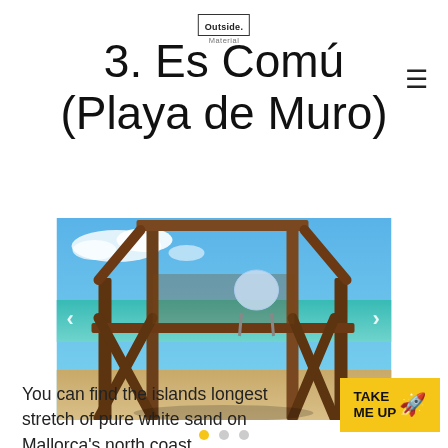Outside. Material
3. Es Comú (Playa de Muro)
[Figure (photo): Beach lifeguard tower with wooden frame structure, blue sky and turquoise sea in the background, sandy beach at Playa de Muro, Mallorca]
You can find the islands longest stretch of pure white sand on Mallorca's north coast.